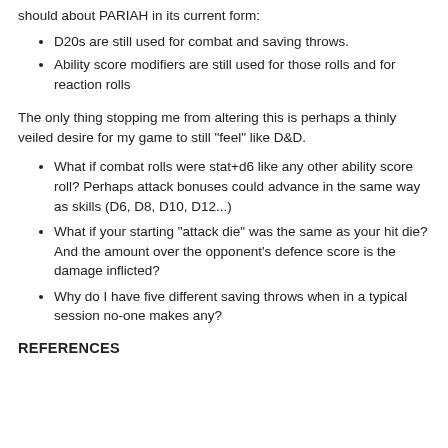should about PARIAH in its current form:
D20s are still used for combat and saving throws.
Ability score modifiers are still used for those rolls and for reaction rolls
The only thing stopping me from altering this is perhaps a thinly veiled desire for my game to still "feel" like D&D.
What if combat rolls were stat+d6 like any other ability score roll? Perhaps attack bonuses could advance in the same way as skills (D6, D8, D10, D12...)
What if your starting "attack die" was the same as your hit die? And the amount over the opponent's defence score is the damage inflicted?
Why do I have five different saving throws when in a typical session no-one makes any?
REFERENCES